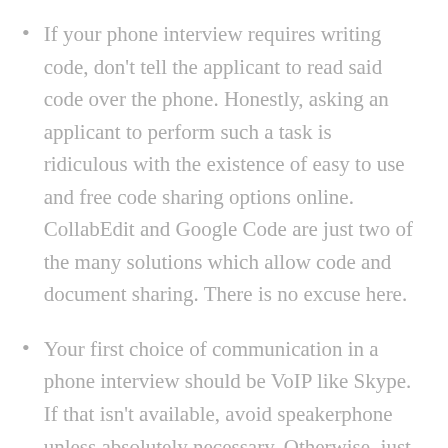If your phone interview requires writing code, don't tell the applicant to read said code over the phone. Honestly, asking an applicant to perform such a task is ridiculous with the existence of easy to use and free code sharing options online. CollabEdit and Google Code are just two of the many solutions which allow code and document sharing. There is no excuse here.
Your first choice of communication in a phone interview should be VoIP like Skype. If that isn't available, avoid speakerphone unless absolutely necessary. Otherwise, just stick to a land-line to avoid awful reception and audio issues. Not everyone has the best hearing and requiring